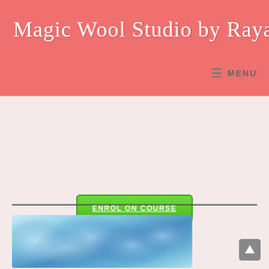Magic Wool Studio by Raya Brown
MENU
[Figure (screenshot): Green button labeled ENROL ON COURSE with underline text on a light pink background]
[Figure (photo): Close-up photo of blue fluffy wool or fiber material with soft cloud-like texture]
[Figure (other): Gray scroll-to-top button in lower right corner]